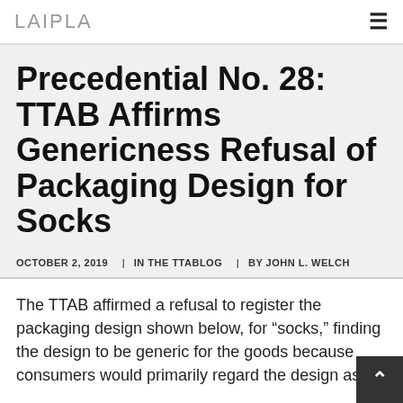LAIPLA
Precedential No. 28: TTAB Affirms Genericness Refusal of Packaging Design for Socks
OCTOBER 2, 2019 | IN THE TTABLOG | BY JOHN L. WELCH
The TTAB affirmed a refusal to register the packaging design shown below, for “socks,” finding the design to be generic for the goods because consumers would primarily regard the design as